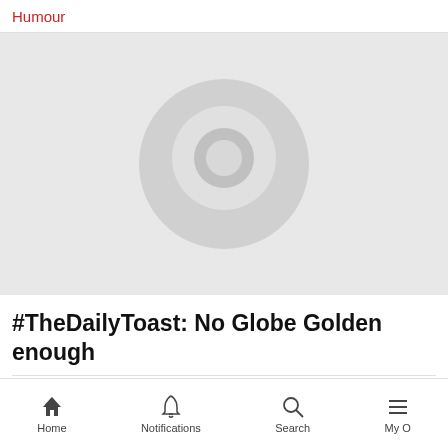Humour
[Figure (photo): Placeholder image with grey background and a grey circle icon (video/image placeholder) in the center]
#TheDailyToast: No Globe Golden enough
[Figure (infographic): Action bar with like count (0), comment count (0), bookmark icon, and share icon]
Home  Notifications  Search  My O